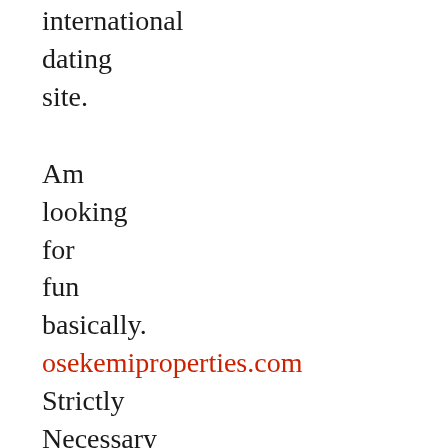international dating site.
Am looking for fun basically. osekemiproperties.com Strictly Necessary Cookies Strictly Necessary Cookie should be enabled at all times so that